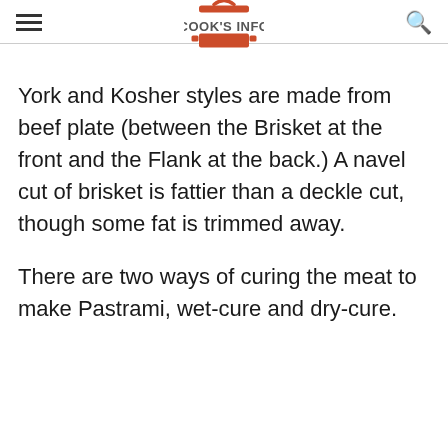Cook's Info
York and Kosher styles are made from beef plate (between the Brisket at the front and the Flank at the back.) A navel cut of brisket is fattier than a deckle cut, though some fat is trimmed away.
There are two ways of curing the meat to make Pastrami, wet-cure and dry-cure.